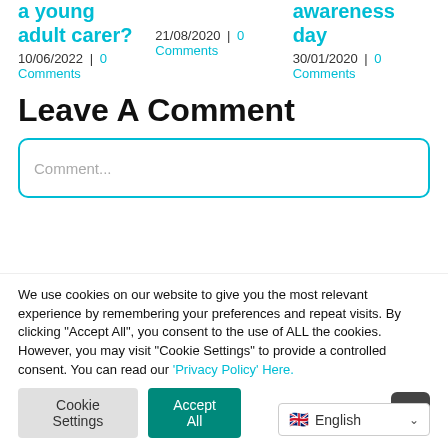a young adult carer?
10/06/2022 | 0 Comments
...
21/08/2020 | 0 Comments
awareness day
30/01/2020 | 0 Comments
Leave A Comment
Comment...
We use cookies on our website to give you the most relevant experience by remembering your preferences and repeat visits. By clicking “Accept All”, you consent to the use of ALL the cookies. However, you may visit "Cookie Settings" to provide a controlled consent. You can read our ‘Privacy Policy’ Here.
Cookie Settings
Accept All
English